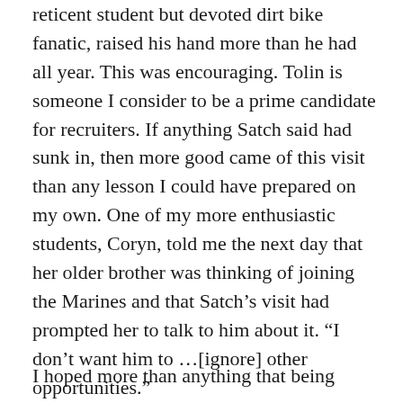reticent student but devoted dirt bike fanatic, raised his hand more than he had all year. This was encouraging. Tolin is someone I consider to be a prime candidate for recruiters. If anything Satch said had sunk in, then more good came of this visit than any lesson I could have prepared on my own. One of my more enthusiastic students, Coryn, told me the next day that her older brother was thinking of joining the Marines and that Satch's visit had prompted her to talk to him about it. “I don’t want him to …[ignore] other opportunities.”
I hoped more than anything that being